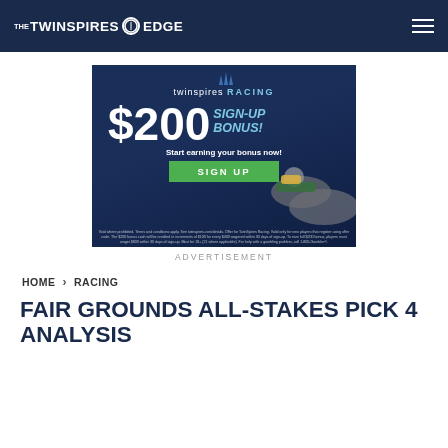THE TWINSPIRES EDGE
[Figure (illustration): TwinSpires Racing $200 Sign-Up Bonus advertisement with jockey on horse, green SIGN UP button, and fine print disclaimer]
ADVERTISEMENT
HOME > RACING
FAIR GROUNDS ALL-STAKES PICK 4 ANALYSIS